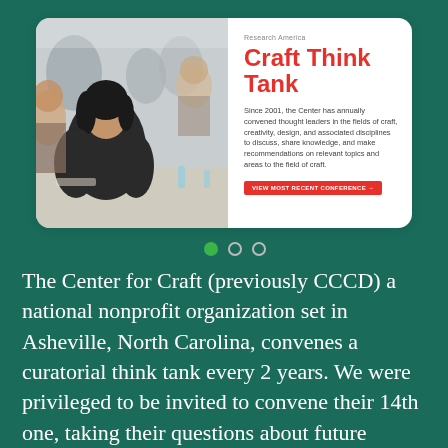[Figure (screenshot): A website card UI showing a photo of people in a meeting/workshop on the left, and text content on the right. The text includes a small 'Research America' label, a large red heading 'Craft Think Tank', descriptive body text about the Center convening thought leaders since 2001, a red 'VIEW MOST RECENT CONFERENCE →' button, and carousel navigation dots below.]
The Center for Craft (previously CCCD) a national nonprofit organization set in Asheville, North Carolina, convenes a curatorial think tank every 2 years. We were privileged to be invited to convene their 14th one, taking their questions about future relationships between craft and (digital) making into future possible environments and